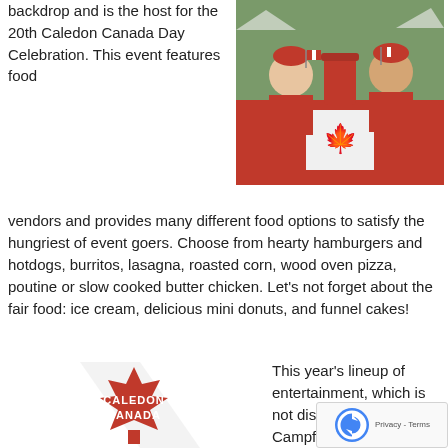backdrop and is the host for the 20th Caledon Canada Day Celebration. This event features food
[Figure (photo): Two people wearing red Canada Day attire sitting behind a table covered with a large Canadian flag, holding small Canadian flags, at an outdoor event.]
vendors and provides many different food options to satisfy the hungriest of event goers. Choose from hearty hamburgers and hotdogs, burritos, lasagna, roasted corn, wood oven pizza, poutine or slow cooked butter chicken. Let's not forget about the fair food: ice cream, delicious mini donuts, and funnel cakes!
[Figure (logo): Caledon Canada Day red maple leaf logo with text CALEDON CANADA in white on the leaf, on a white background with a diagonal stripe.]
This year's lineup of entertainment, which is not disa... includes... Campfire Roots...